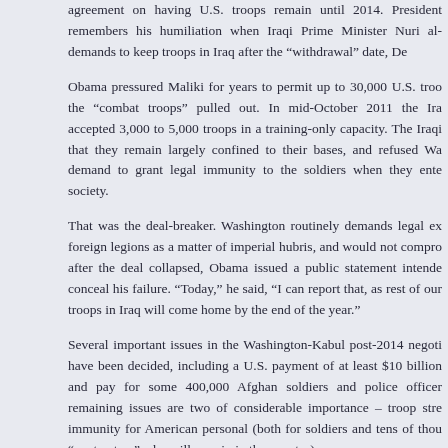agreement on having U.S. troops remain until 2014. President remembers his humiliation when Iraqi Prime Minister Nuri al- demands to keep troops in Iraq after the “withdrawal” date, De
Obama pressured Maliki for years to permit up to 30,000 U.S. troo the “combat troops” pulled out. In mid-October 2011 the Ira accepted 3,000 to 5,000 troops in a training-only capacity. The Iraqis that they remain largely confined to their bases, and refused Wa demand to grant legal immunity to the soldiers when they ente society.
That was the deal-breaker. Washington routinely demands legal ex foreign legions as a matter of imperial hubris, and would not compro after the deal collapsed, Obama issued a public statement intende conceal his failure. “Today,” he said, “I can report that, as rest of our troops in Iraq will come home by the end of the year.”
Several important issues in the Washington-Kabul post-2014 negoti have been decided, including a U.S. payment of at least $10 billion and pay for some 400,000 Afghan soldiers and police officer remaining issues are two of considerable importance – troop stre immunity for American personal (both for soldiers and tens of thou “contractors” who will remain in the country).
Reports circulated in the last few months that between 3,000 an troops, mainly Special Forces, CIA contingents, drone operators and various kinds, will remain after 2014. The main air cover is expecte Navy aircraft carriers probably stationed in the Arabian Sea or Drones are expected to play a major role in battle as well as sur